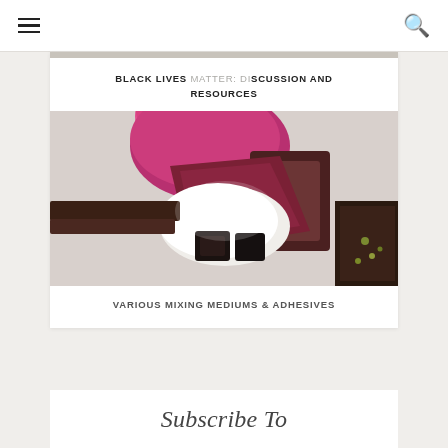≡  🔍
BLACK LIVES MATTER: DISCUSSION AND RESOURCES
[Figure (photo): Various colorful mixing mediums and adhesives — pink, dark red/brown, white and black pieces arranged together]
VARIOUS MIXING MEDIUMS & ADHESIVES
Subscribe To